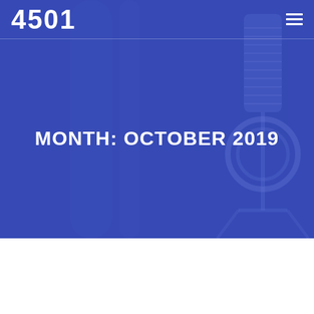[Figure (photo): Blue-toned background with a studio condenser microphone visible on the right side, overlaid with a dark blue color tint]
4501
MONTH: OCTOBER 2019